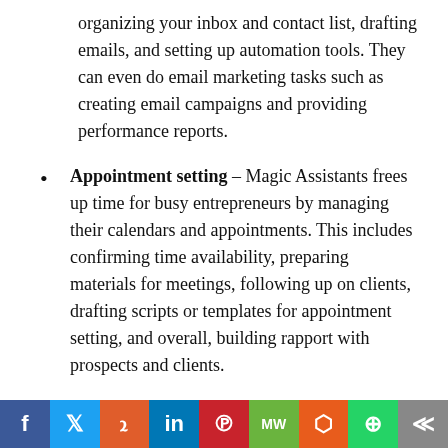organizing your inbox and contact list, drafting emails, and setting up automation tools. They can even do email marketing tasks such as creating email campaigns and providing performance reports.
Appointment setting – Magic Assistants frees up time for busy entrepreneurs by managing their calendars and appointments. This includes confirming time availability, preparing materials for meetings, following up on clients, drafting scripts or templates for appointment setting, and overall, building rapport with prospects and clients.
Lead generation – A Magic Assistant can support the marketing team in generating leads through sales-related activities including data mining, managing email marketing, SEO and social media campaigns,